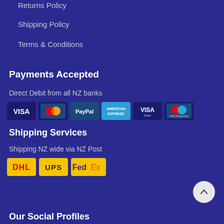Returns Policy
Shipping Policy
Terms & Conditions
Payments Accepted
Direct Debit from all NZ banks
[Figure (logo): Payment method logos: Visa, Mastercard, PayPal, American Express, Visa Debit, Mastercard]
Shipping Services
Shipping NZ wide via NZ Post
[Figure (logo): Shipping logos: DHL, UPS, FedEx]
Our Social Profiles